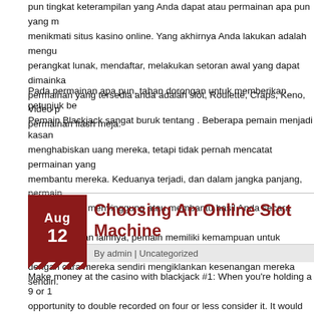pun tingkat keterampilan yang Anda dapat atau permainan apa pun yang m menikmati situs kasino online. Yang akhirnya Anda lakukan adalah mengu perangkat lunak, mendaftar, melakukan setoran awal yang dapat dimainka permainan yang tersedia anda adalah slot, Roulette, Craps, Keno, Video p permainan flash meja.
Pada permainan apa pun, tahan dorongan untuk memberikan petunjuk be Pemain Blackjack sangat buruk tentang . Beberapa pemain menjadi kasan menghabiskan uang mereka, tetapi tidak pernah mencatat permainan yang membantu mereka. Keduanya terjadi, dan dalam jangka panjang, permain berbeda tidak menyinggung atau membantu hasil Anda secara keseluruha atau permainan lainnya, pemain memiliki kemampuan untuk membuat kep dengan cara mereka sendiri mengiklankan kesenangan mereka sendiri.
Choosing An Online Slot Machine
By admin | Uncategorized
Make money at the casino with blackjack #1: When you're holding a 9 or 1 opportunity to double recorded on four or less consider it. It would likely so fact that your dealer is your enemy and the man also is sufffering from a go elevated card total than you.